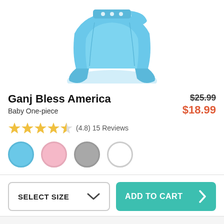[Figure (photo): Light blue baby one-piece onesie with snap closures at top, shown from front, cropped at top of image]
Ganj Bless America
Baby One-piece
$25.99 $18.99
(4.8) 15 Reviews
Color swatches: blue, pink, gray, white
SELECT SIZE
ADD TO CART
Also Available On
[Figure (photo): Thumbnail images of also available products, partially visible at bottom of page]